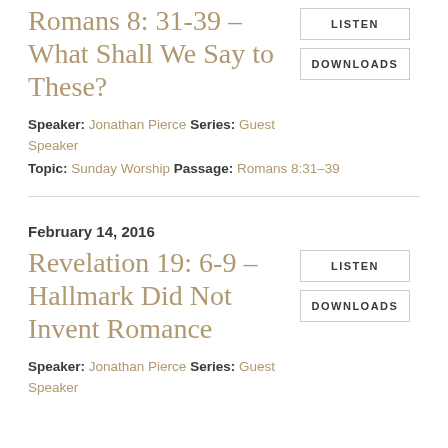Romans 8: 31-39 – What Shall We Say to These?
LISTEN
DOWNLOADS
Speaker: Jonathan Pierce Series: Guest Speaker
Topic: Sunday Worship Passage: Romans 8:31–39
February 14, 2016
Revelation 19: 6-9 – Hallmark Did Not Invent Romance
LISTEN
DOWNLOADS
Speaker: Jonathan Pierce Series: Guest Speaker